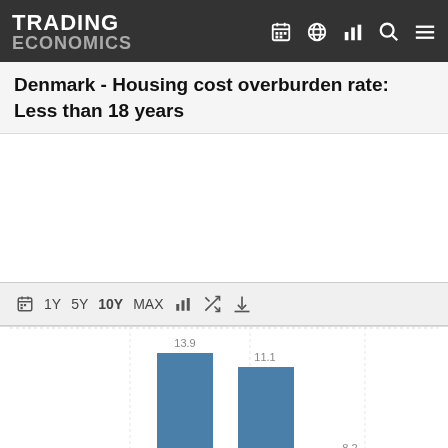TRADING ECONOMICS
Denmark - Housing cost overburden rate: Less than 18 years
[Figure (bar-chart): Denmark - Housing cost overburden rate: Less than 18 years]